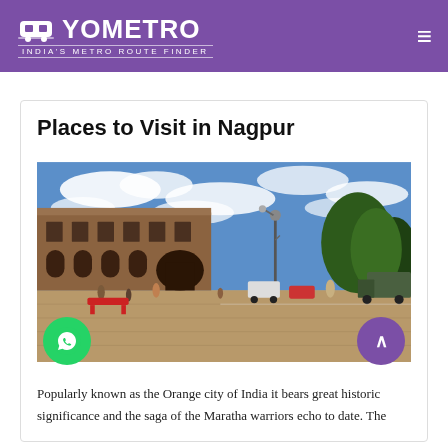YOMETRO — INDIA'S METRO ROUTE FINDER
Places to Visit in Nagpur
[Figure (photo): Street-level photo of a historic sandstone building in Nagpur with arched entrance and columns, blue cloudy sky, street with people, vehicles, and trees visible]
Popularly known as the Orange city of India it bears great historic significance and the saga of the Maratha warriors echo to date. The